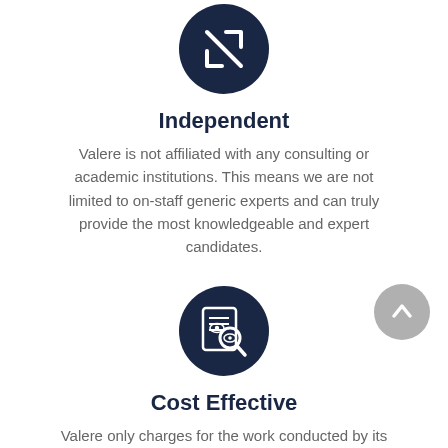[Figure (illustration): Dark navy circle icon with two crossing arrows (resize/scale icon) on white background]
Independent
Valere is not affiliated with any consulting or academic institutions. This means we are not limited to on-staff generic experts and can truly provide the most knowledgeable and expert candidates.
[Figure (illustration): Dark navy circle icon with a magnifying glass over a document/eye icon]
Cost Effective
Valere only charges for the work conducted by its experts. Our clients do not have to be concerned about hidden or non-transparent costs. from the supporting Valere personnel.